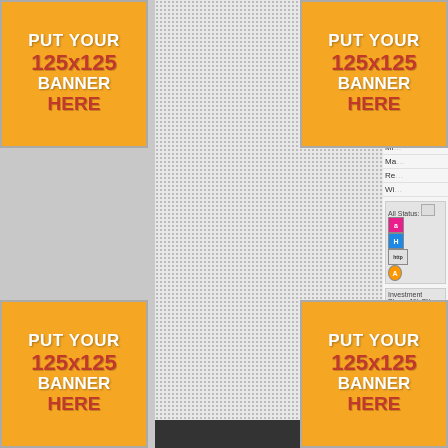[Figure (infographic): Top-left banner placeholder: PUT YOUR 125x125 BANNER HERE]
[Figure (screenshot): Center panel showing a UI screenshot with status icons, investment plans, admin note fields, and a vertical green line. Right side shows truncated UI elements: Detail button, green dot, large C letter, image placeholder, Re/Mi/Ma/Re/Wi rows, All Status row with icons, Investment Plans row with 1% 2% 5%, Admin Note field, Detail button.]
[Figure (infographic): Top-right banner placeholder: PUT YOUR 125x125 BANNER HERE]
[Figure (infographic): Bottom-left banner placeholder: PUT YOUR 125x125 BANNER HERE]
[Figure (infographic): Bottom-right banner placeholder: PUT YOUR 125x125 BANNER HERE]